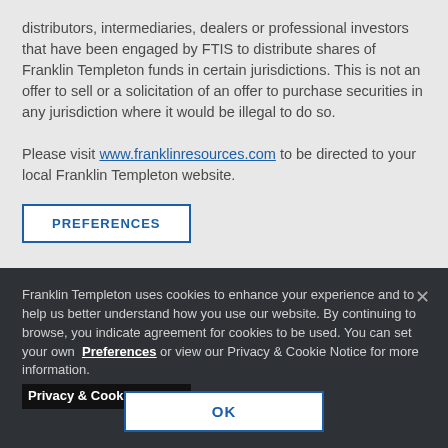distributors, intermediaries, dealers or professional investors that have been engaged by FTIS to distribute shares of Franklin Templeton funds in certain jurisdictions. This is not an offer to sell or a solicitation of an offer to purchase securities in any jurisdiction where it would be illegal to do so.
Please visit www.franklinresources.com to be directed to your local Franklin Templeton website.
PREFERENCES
Franklin Templeton uses cookies to enhance your experience and to help us better understand how you use our website. By continuing to browse, you indicate agreement for cookies to be used. You can set your own Preferences or view our Privacy & Cookie Notice for more information. Privacy & Cookie Notices
OK